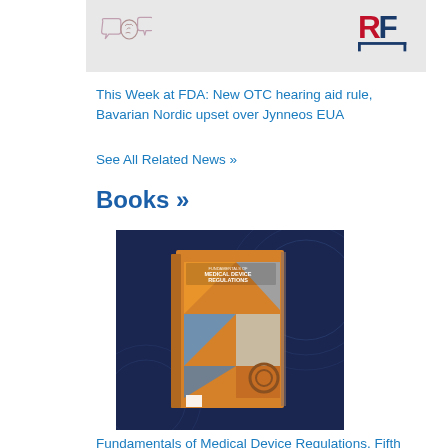[Figure (screenshot): Banner image with brain/conversation icons on left and RF logo on right, grey background]
This Week at FDA: New OTC hearing aid rule, Bavarian Nordic upset over Jynneos EUA
See All Related News »
Books »
[Figure (photo): Book cover of Fundamentals of Medical Device Regulations, Fifth edition, orange geometric cover design, displayed on dark blue background with circular wire mesh pattern]
Fundamentals of Medical Device Regulations, Fifth